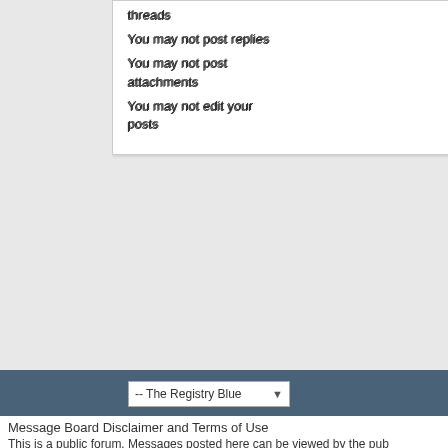You may not post replies
You may not post attachments
You may not edit your posts
Smilies are On
[IMG] code is On
[VIDEO] code is On
HTML code is Off
Forum Rules
-- The Registry Blue
Message Board Disclaimer and Terms of Use
This is a public forum. Messages posted here can be viewed by the pub responsible for messages posted in its online forums, and any message not the Early 911S Registry. Use of online forums shall constitute the ag of religious or political content, false and defamatory, inaccurate, abusive profane, sexually oriented, threatening, invasive of a person's privacy, o further agreement of the user to be solely responsible for and hold the E of any claim based on their message. Any viewer who finds a message c immediately by email. The Early 911S Registry has the ability to remove